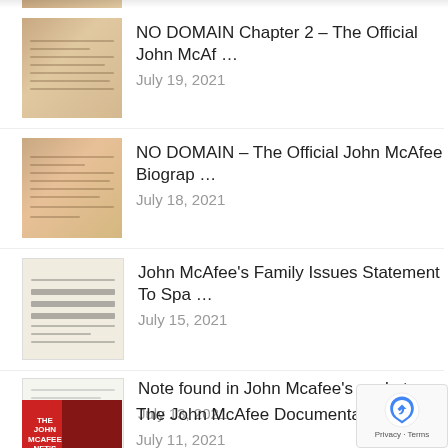NO DOMAIN Chapter 2 – The Official John McAf …
July 19, 2021
NO DOMAIN – The Official John McAfee Biograp …
July 18, 2021
John McAfee's Family Issues Statement To Spa …
July 15, 2021
Note found in John Mcafee's pocket
July 13, 2021
The John McAfee Documentary in NFT's
July 11, 2021